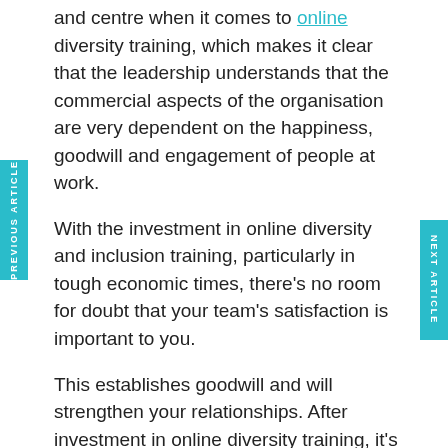and centre when it comes to online diversity training, which makes it clear that the leadership understands that the commercial aspects of the organisation are very dependent on the happiness, goodwill and engagement of people at work.
With the investment in online diversity and inclusion training, particularly in tough economic times, there's no room for doubt that your team's satisfaction is important to you.
This establishes goodwill and will strengthen your relationships. After investment in online diversity training, it's much harder for the